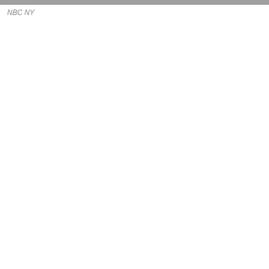[Figure (photo): A horizontal banner/header image strip showing a blurred or muted photographic scene in grayscale tones across the top of the page.]
NBC NY